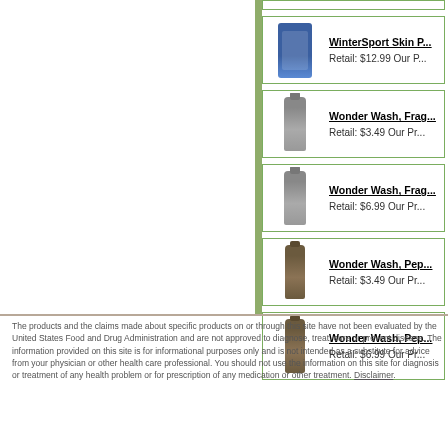[Figure (photo): Partially visible product listing at top of page]
WinterSport Skin P...
Retail: $12.99 Our P...
Wonder Wash, Frag...
Retail: $3.49 Our Pr...
Wonder Wash, Frag...
Retail: $6.99 Our Pr...
Wonder Wash, Pep...
Retail: $3.49 Our Pr...
Wonder Wash, Pep...
Retail: $6.99 Our Pr...
The products and the claims made about specific products on or through this site have not been evaluated by the United States Food and Drug Administration and are not approved to diagnose, treat, cure or prevent disease. The information provided on this site is for informational purposes only and is not intended as a substitute for advice from your physician or other health care professional. You should not use the information on this site for diagnosis or treatment of any health problem or for prescription of any medication or other treatment. Disclaimer.